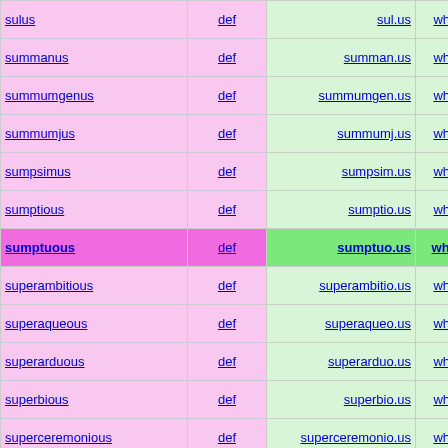| word | def | domain | whois | tld | country |
| --- | --- | --- | --- | --- | --- |
| sulus | def | sul.us | whois | .us | Uni Stat |
| summanus | def | summan.us | whois | .us | Uni Stat |
| summumgenus | def | summumgen.us | whois | .us | Uni Stat |
| summumjus | def | summumj.us | whois | .us | Uni Stat |
| sumpsimus | def | sumpsim.us | whois | .us | Uni Stat |
| sumptious | def | sumptio.us | whois | .us | Uni Stat |
| sumptuous | def | sumptuo.us | whois | .us | Uni Stat |
| superambitious | def | superambitio.us | whois | .us | Uni Stat |
| superaqueous | def | superaqueo.us | whois | .us | Uni Stat |
| superarduous | def | superarduo.us | whois | .us | Uni Stat |
| superbious | def | superbio.us | whois | .us | Uni Stat |
| superceremonious | def | superceremonio.us | whois | .us | Uni Stat |